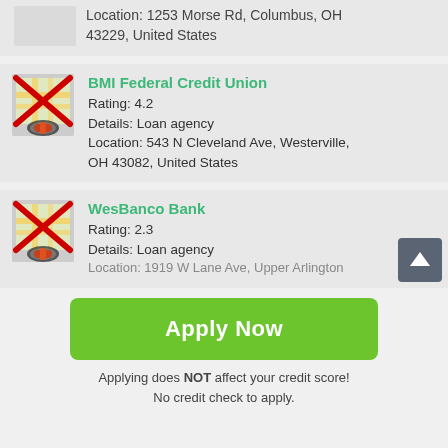Location: 1253 Morse Rd, Columbus, OH 43229, United States
[Figure (screenshot): Map icon with red X overlay for BMI Federal Credit Union]
BMI Federal Credit Union
Rating: 4.2
Details: Loan agency
Location: 543 N Cleveland Ave, Westerville, OH 43082, United States
[Figure (screenshot): Map icon with red X overlay for WesBanco Bank]
WesBanco Bank
Rating: 2.3
Details: Loan agency
Location: 1919 W Lane Ave, Upper Arlington
Apply Now
Applying does NOT affect your credit score! No credit check to apply.